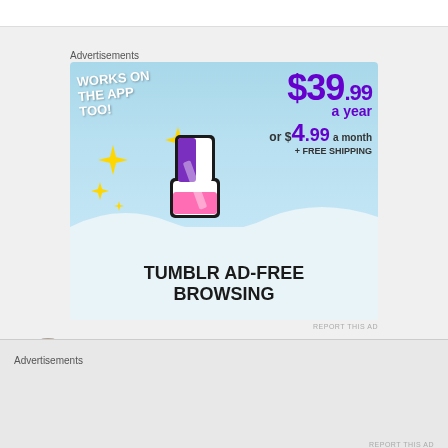Advertisements
[Figure (illustration): Tumblr Ad-Free Browsing advertisement banner. Sky blue background with the Tumblr 't' logo in pink, purple, and white with gold sparkles. Text reads: WORKS ON THE APP TOO!, $39.99 a year, or $4.99 a month, + FREE SHIPPING, TUMBLR AD-FREE BROWSING]
REPORT THIS AD
Yetti-savs
Advertisements
REPORT THIS AD